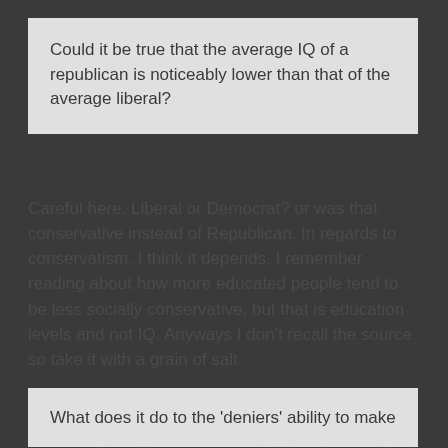Could it be true that the average IQ of a republican is noticeably lower than that of the average liberal?
Careful here. Liberal or Democrat? or was that conservative instead of Republican. In regards to conservatism, I think it depends. I remember reading about how more educated people tend to be less socially conservative, but that is education levels and not IQ. Anyways I don't recall the source so take it with a grain of salt.

In regards to Fiscal conservatism I think you would be able to make that argument. The fiscal conservatives I know are very intelligent, even if not that knowledgeable in matters of science.
What does it do to the 'deniers' ability to make